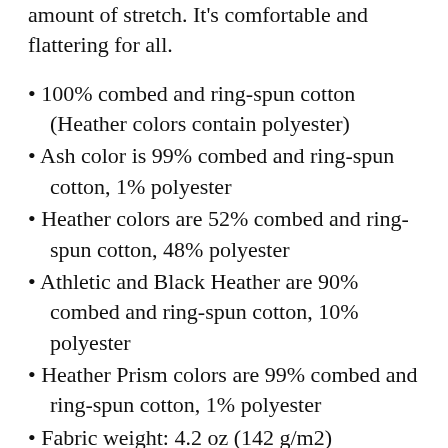amount of stretch. It's comfortable and flattering for all.
100% combed and ring-spun cotton (Heather colors contain polyester)
Ash color is 99% combed and ring-spun cotton, 1% polyester
Heather colors are 52% combed and ring-spun cotton, 48% polyester
Athletic and Black Heather are 90% combed and ring-spun cotton, 10% polyester
Heather Prism colors are 99% combed and ring-spun cotton, 1% polyester
Fabric weight: 4.2 oz (142 g/m2)
Pre-shrunk fabric
Side-seamed construction